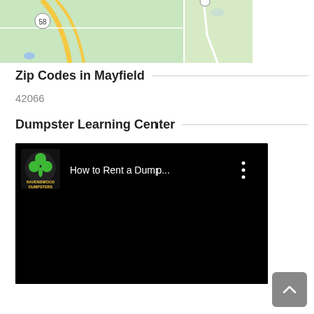[Figure (map): Partial map view showing road 58 and green terrain with yellow roads and a vertical divider line]
Zip Codes in Mayfield
42066
Dumpster Learning Center
[Figure (screenshot): Video thumbnail showing Ravenswood Dumpsters logo (green shamrock) and title 'How to Rent a Dump...' on black background with vertical three-dot menu icon]